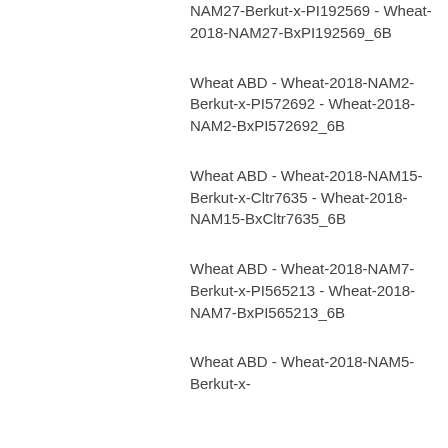NAM27-Berkut-x-PI192569 - Wheat-2018-NAM27-BxPI192569_6B
Wheat ABD - Wheat-2018-NAM2-Berkut-x-PI572692 - Wheat-2018-NAM2-BxPI572692_6B
Wheat ABD - Wheat-2018-NAM15-Berkut-x-Cltr7635 - Wheat-2018-NAM15-BxCltr7635_6B
Wheat ABD - Wheat-2018-NAM7-Berkut-x-PI565213 - Wheat-2018-NAM7-BxPI565213_6B
Wheat ABD - Wheat-2018-NAM5-Berkut-x-